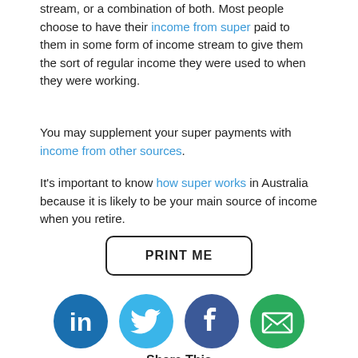stream, or a combination of both. Most people choose to have their income from super paid to them in some form of income stream to give them the sort of regular income they were used to when they were working.
You may supplement your super payments with income from other sources.
It's important to know how super works in Australia because it is likely to be your main source of income when you retire.
[Figure (other): PRINT ME button with rounded rectangle border]
[Figure (infographic): Social media share icons: LinkedIn (blue circle with 'in'), Twitter (light blue circle with bird), Facebook (dark blue circle with 'f'), Email (green circle with envelope). Below icons: 'Share This' label.]